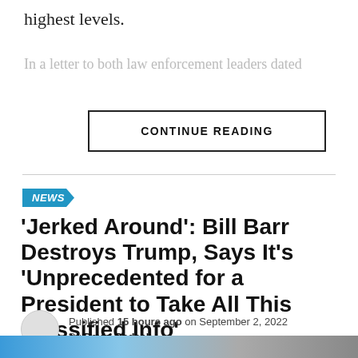highest levels.
In a letter to both law enforcement leaders dated
CONTINUE READING
NEWS
'Jerked Around': Bill Barr Destroys Trump, Says It's 'Unprecedented for a President to Take All This Classified Info'
Published 15 hours ago on September 2, 2022 By David Badash